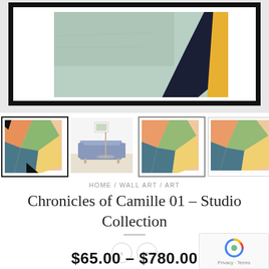[Figure (photo): Framed abstract painting with teal/mint background, black diagonal shape, and yellow area. Black frame, white mat, displayed against gray background.]
[Figure (photo): Four product thumbnails of the same abstract art print in different frames: black frame close-up, room lifestyle shot with blue sofa, gray frame, and white/silver frame.]
HOME / WALL ART / ART
Chronicles of Camille 01 – Studio Collection
< >
$65.00 – $780.00